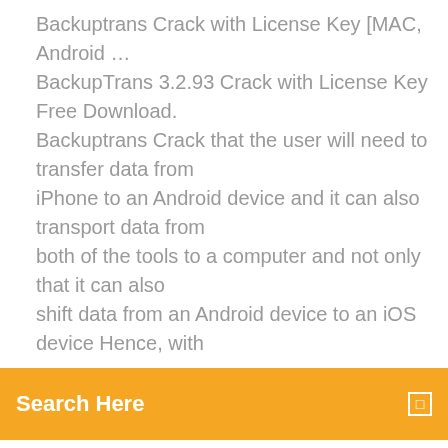Backuptrans Crack with License Key [MAC, Android … BackupTrans 3.2.93 Crack with License Key Free Download. Backuptrans Crack that the user will need to transfer data from iPhone to an Android device and it can also transport data from both of the tools to a computer and not only that it can also shift data from an Android device to an iOS device Hence, with
[Figure (screenshot): Orange search bar with white text 'Search Here' and a small square icon on the right]
iPhone
How to Transfer WhatsApp from iPhone to Android … "How can I transfer WhatsApp messages and photos from iPhone to Android? I switched to a new Samsung phone. Need help!" I admit! It greatly surprises me that migrating data from iOS to Android is not easy. Especially WhatsApp! I hope this article is helpful and can spare you guys from what I've gone through (tedious works). Based on the thorough researches and tests I